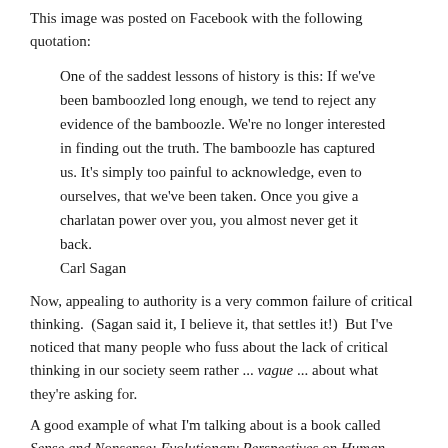This image was posted on Facebook with the following quotation:
One of the saddest lessons of history is this: If we've been bamboozled long enough, we tend to reject any evidence of the bamboozle. We're no longer interested in finding out the truth. The bamboozle has captured us. It's simply too painful to acknowledge, even to ourselves, that we've been taken. Once you give a charlatan power over you, you almost never get it back. Carl Sagan
Now, appealing to authority is a very common failure of critical thinking.  (Sagan said it, I believe it, that settles it!)  But I've noticed that many people who fuss about the lack of critical thinking in our society seem rather ... vague ... about what they're asking for.
A good example of what I'm talking about is a book called Sense and Nonsense: Evolutionary Perspectives on Human Behavior by Kevin N. Laland and Gillian R. Brown, published a decade ago by Oxford University Press.  It's on a subject that interests me and on which I've read quite a lot over the years, but I got bogged down in the first chapter.
Laland and Brown introduce the sociobiology debates of the 1970s